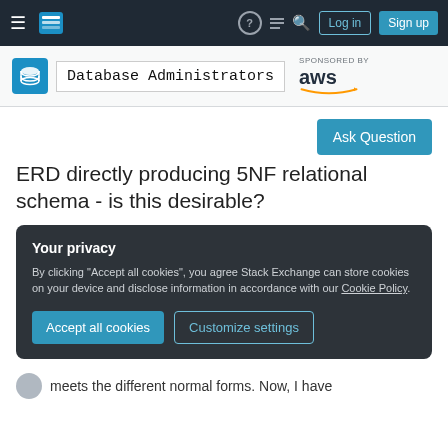Database Administrators Stack Exchange — navigation bar with Log in and Sign up buttons
[Figure (screenshot): Database Administrators site header with logo, site name, and AWS sponsorship logo]
Ask Question
ERD directly producing 5NF relational schema - is this desirable?
Your privacy
By clicking "Accept all cookies", you agree Stack Exchange can store cookies on your device and disclose information in accordance with our Cookie Policy.
Accept all cookies   Customize settings
meets the different normal forms. Now, I have